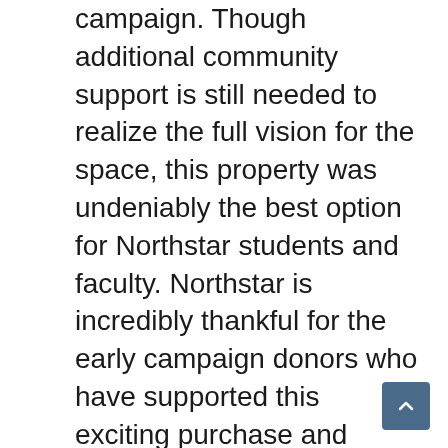campaign. Though additional community support is still needed to realize the full vision for the space, this property was undeniably the best option for Northstar students and faculty. Northstar is incredibly thankful for the early campaign donors who have supported this exciting purchase and believed in our vision to relocate to a space worthy of our exceptional students. With the support of our donors, and because Northstar Academy has been an excellent steward of its funds in the past, the school was able to secure this building while still in the midst of its campaign